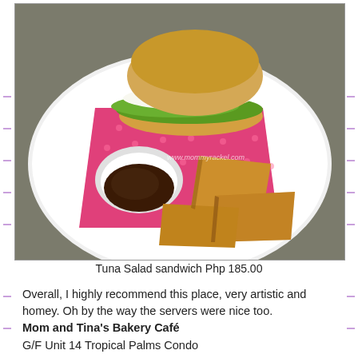[Figure (photo): A white plate with a tuna salad sandwich on a bun with lettuce and white creamy filling, served on a hot pink polka-dot napkin with a side of thick-cut fried potato wedges and a small white ramekin of dark dipping sauce (BBQ). A watermark reads www.mommyrackel.com. The plate is on a black metal mesh table.]
Tuna Salad sandwich Php 185.00
Overall, I highly recommend this place, very artistic and homey. Oh by the way the servers were nice too.
Mom and Tina’s Bakery Café
G/F Unit 14 Tropical Palms Condo
103 Dela Rosa Street., San Lorenzo